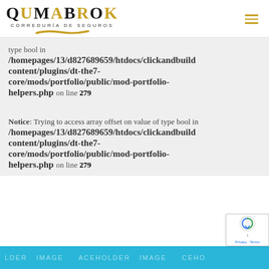[Figure (logo): QUMABROK Correduría de Seguros logo with gold and black lettering and gold brushstroke underline, plus hamburger menu icon]
type bool in /homepages/13/d827689659/htdocs/clickandbuild content/plugins/dt-the7-core/mods/portfolio/public/mod-portfolio-helpers.php on line 279
Notice: Trying to access array offset on value of type bool in /homepages/13/d827689659/htdocs/clickandbuild content/plugins/dt-the7-core/mods/portfolio/public/mod-portfolio-helpers.php on line 279
[Figure (illustration): Placeholder image strip in cyan/blue with repeated PLACEHOLDER IMAGE watermark text]